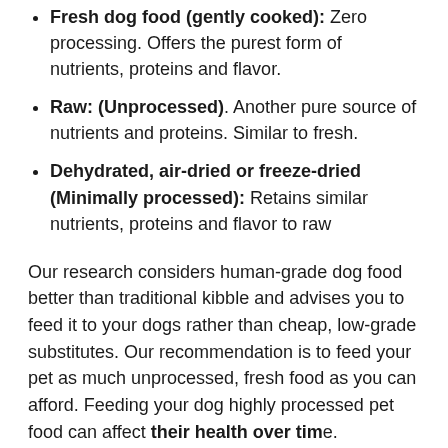Fresh dog food (gently cooked): Zero processing. Offers the purest form of nutrients, proteins and flavor.
Raw: (Unprocessed). Another pure source of nutrients and proteins. Similar to fresh.
Dehydrated, air-dried or freeze-dried (Minimally processed): Retains similar nutrients, proteins and flavor to raw
Our research considers human-grade dog food better than traditional kibble and advises you to feed it to your dogs rather than cheap, low-grade substitutes. Our recommendation is to feed your pet as much unprocessed, fresh food as you can afford. Feeding your dog highly processed pet food can affect their health over time.